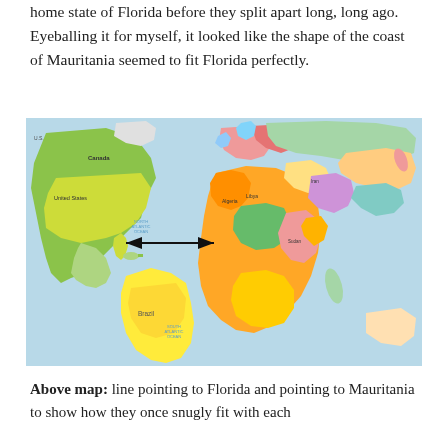home state of Florida before they split apart long, long ago. Eyeballing it for myself, it looked like the shape of the coast of Mauritania seemed to fit Florida perfectly.
[Figure (map): World map showing a double-headed arrow drawn from Florida (eastern USA coast) pointing across the Atlantic Ocean to Mauritania on the west coast of Africa, illustrating continental drift relationship.]
Above map: line pointing to Florida and pointing to Mauritania to show how they once snugly fit with each